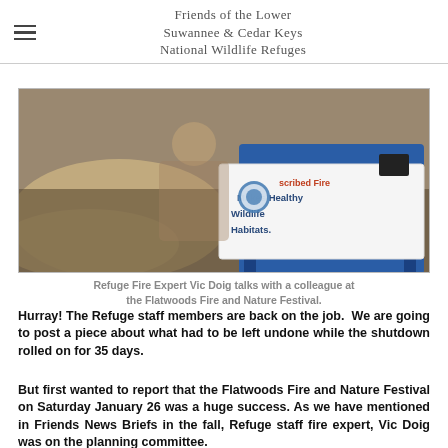Friends of the Lower Suwannee & Cedar Keys National Wildlife Refuges
[Figure (photo): A table with a blue tablecloth and a banner reading 'Prescribed Fire Makes Healthy Wildlife Habitats.' at the Flatwoods Fire and Nature Festival.]
Refuge Fire Expert Vic Doig talks with a colleague at the Flatwoods Fire and Nature Festival.
Hurray! The Refuge staff members are back on the job. We are going to post a piece about what had to be left undone while the shutdown rolled on for 35 days.
But first wanted to report that the Flatwoods Fire and Nature Festival on Saturday January 26 was a huge success. As we have mentioned in Friends News Briefs in the fall, Refuge staff fire expert, Vic Doig was on the planning committee.